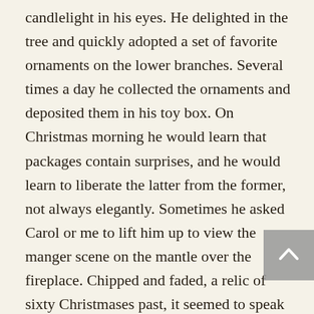candlelight in his eyes. He delighted in the tree and quickly adopted a set of favorite ornaments on the lower branches. Several times a day he collected the ornaments and deposited them in his toy box. On Christmas morning he would learn that packages contain surprises, and he would learn to liberate the latter from the former, not always elegantly. Sometimes he asked Carol or me to lift him up to view the manger scene on the mantle over the fireplace. Chipped and faded, a relic of sixty Christmases past, it seemed to speak to him like a revered member of the family. He gazed at the figures one by one—the wise men, the cow with three legs, the three figures grouped at the center whom he understood to be mother, father, and child.